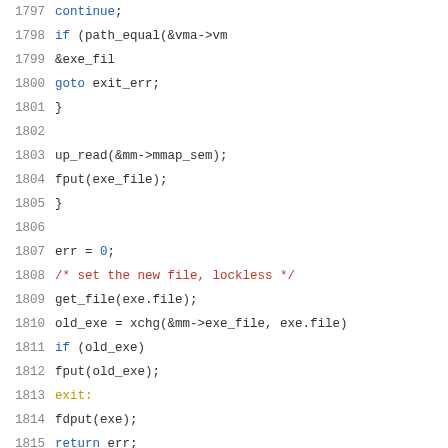[Figure (screenshot): Source code listing lines 1797-1818 in C, showing code related to setting a new executable file with up_read, fput, xchg operations, labels exit and exit_err]